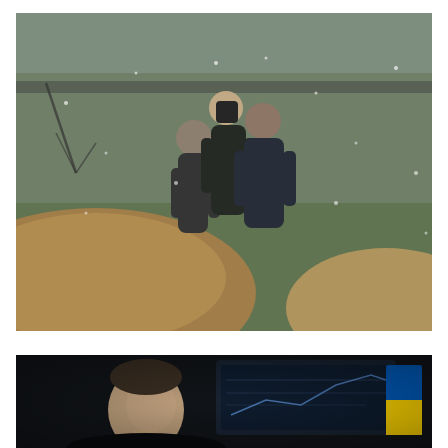[Figure (photo): Three people standing close together embracing in grief in snowy/rainy weather outdoors. In the foreground is a mound of freshly dug earth (a grave). The background shows bare winter trees and a fence. The scene appears to be a burial or mourning scene.]
[Figure (photo): A man facing the camera in a dark setting, partially visible from the shoulders up. In the background there is a blue and yellow Ukrainian flag and what appears to be a screen with text/graphics.]